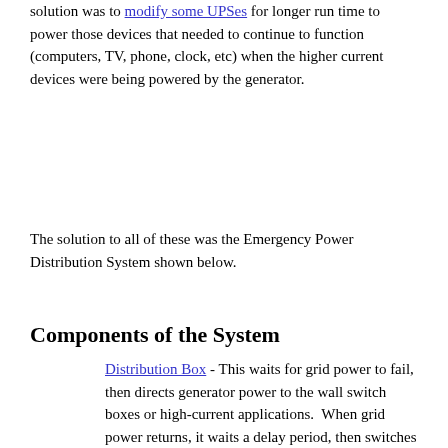solution was to modify some UPSes for longer run time to power those devices that needed to continue to function (computers, TV, phone, clock, etc) when the higher current devices were being powered by the generator.
The solution to all of these was the Emergency Power Distribution System shown below.
Components of the System
Distribution Box - This waits for grid power to fail, then directs generator power to the wall switch boxes or high-current applications.  When grid power returns, it waits a delay period, then switches off the power being provided by the generator.   Also implemented in the distribution box is a load shed to minimize the